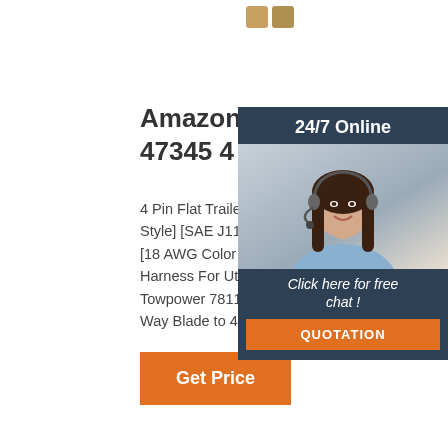[Figure (photo): Two small brown/tan rectangular connector or device icons at the top center of the page]
Amazon.com: Hopkins 47345 4 Wire Flat Adapt
4 Pin Flat Trailer Wiring Harness Kit [Wish Style] [SAE J1128 Rated] [25' Male & 4' Fe [18 AWG Color Coded Wires] 4 Way Flat S Harness For Utility Boat Trailer Lights Kits Towpower 78118 Professional Wiring Ada, Way Blade to 4- or 5-Way Flat, LED Circu
[Figure (photo): Chat widget overlay showing a smiling woman with headset, '24/7 Online' banner, 'Click here for free chat!' text and an orange QUOTATION button, all on a dark blue background]
Get Price